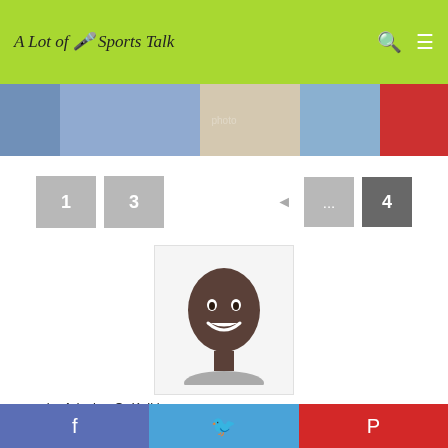A Lot of Sports Talk
[Figure (photo): Sports photo strip showing baseball players]
1  3  ...  4  (pagination controls)
[Figure (photo): Headshot photo of author Adesina O. Koiki]
– by Adesina O. Koiki
A Lot of Sports Talk editor-in-chief
Follow @Koiki_Sport  Follow @ALOST_Official
WASHINGTON — One of the turning points in Thursday
Facebook  Twitter  Pinterest (social share bar)